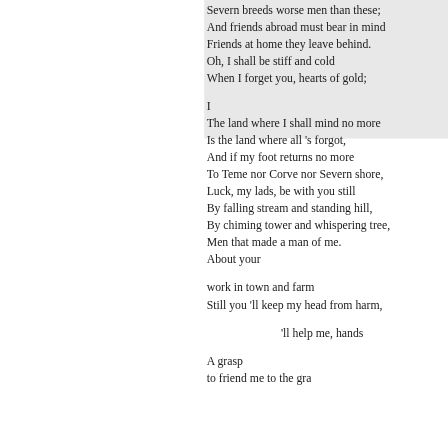Severn breeds worse men than these;
And friends abroad must bear in mind
Friends at home they leave behind.
Oh, I shall be stiff and cold
When I forget you, hearts of gold;

I
The land where I shall mind no more
Is the land where all 's forgot,
And if my foot returns no more
To Teme nor Corve nor Severn shore,
Luck, my lads, be with you still
By falling stream and standing hill,
By chiming tower and whispering tree,
Men that made a man of me.
About your

        work in town and farm
Still you 'll keep my head from harm,

                'll help me, hands

A grasp
        to friend me to the gra